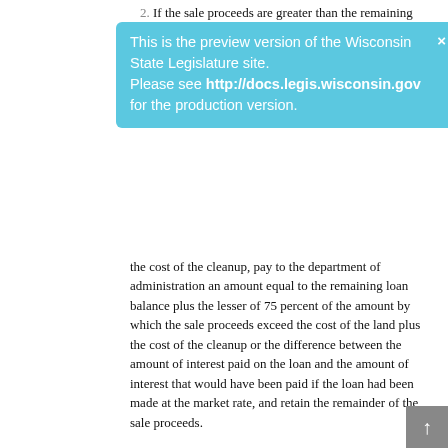2. If the sale proceeds are greater than the remaining loan balance but less than or equal to the cost of the land plus
[Figure (infographic): Preview banner for Wisconsin State Legislature site with text: 'This is the preview version of the Wisconsin State Legislature site. Please see http://docs.legis.wisconsin.gov for the production version.' with a close button (×).]
the cost of the cleanup, pay to the department of administration an amount equal to the remaining loan balance plus the lesser of 75 percent of the amount by which the sale proceeds exceed the cost of the land plus the cost of the cleanup or the difference between the amount of interest paid on the loan and the amount of interest that would have been paid if the loan had been made at the market rate, and retain the remainder of the sale proceeds.
(13) Duties of the Department. The department shall do all of the following:
(a) Seek approval of the federal environmental protection agency for the use of funds under 33 USC 1381 to 1387 for the land recycling loan program.
(b) Promulgate rules establishing eligibility criteria for applicants and projects under this section.
(c) Promulgate rules that are necessary for the execution of its responsibilities under the land recycling loan program.